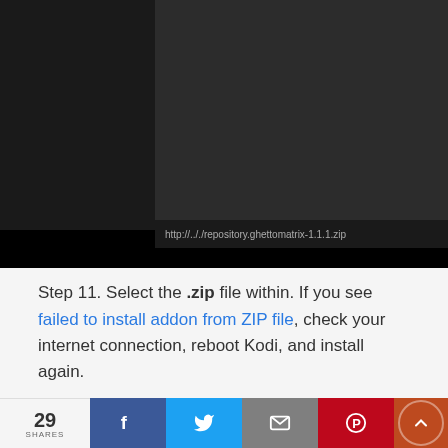[Figure (screenshot): Kodi file browser showing a dark UI with a file panel and file icon on black/dark gray background]
Step 11. Select the .zip file within. If you see failed to install addon from ZIP file, check your internet connection, reboot Kodi, and install again.
[Figure (screenshot): Kodi Add-ons / Add-on browser screen showing menu items: My add-ons, Recently updated, Install from repository (highlighted in teal), Install from zip file. Time shows 2:00 PM. Notification: Ghetto Astronaut Matrix Re - Add-on installed.]
[Figure (screenshot): Social sharing bar showing 29 SHARES, Facebook, Twitter, Email, Pinterest buttons and an orange scroll-to-top button]